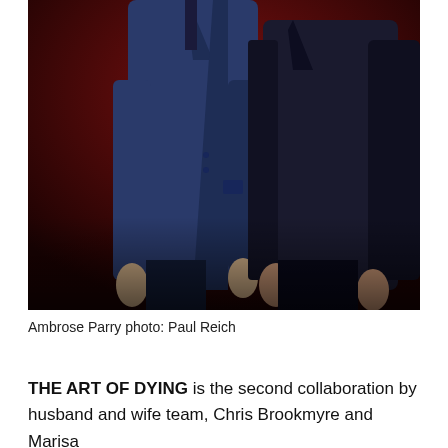[Figure (photo): Two people standing side by side against a dark red background, both wearing dark suits (one blue, one black), visible from roughly the shoulders down to their feet, hands at their sides.]
Ambrose Parry photo: Paul Reich
THE ART OF DYING is the second collaboration by husband and wife team, Chris Brookmyre and Marisa